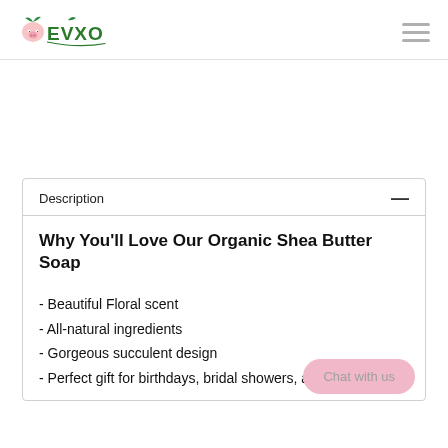EVXO
Description
Why You'll Love Our Organic Shea Butter Soap
- Beautiful Floral scent
- All-natural ingredients
- Gorgeous succulent design
- Perfect gift for birthdays, bridal showers, and